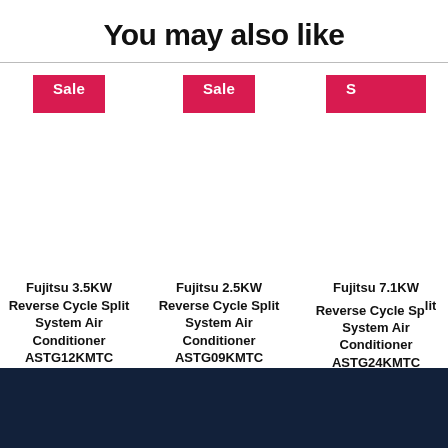You may also like
[Figure (other): Three product cards for Fujitsu air conditioners with Sale badges, each showing product name and sale/original price. Left card (partially visible): Fujitsu 3.5KW Reverse Cycle Split System Air Conditioner ASTG12KMTC, $1,147 was $1,399. Middle card: Fujitsu 2.5KW Reverse Cycle Split System Air Conditioner ASTG09KMTC, $999 was $1,149. Right card (partially visible): Fujitsu 7.1KW Reverse Cycle Split System Air Conditioner ASTG24KMTC, $1,972 was $2,299.]